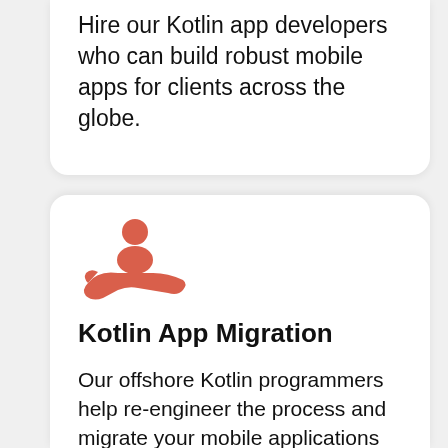Hire our Kotlin app developers who can build robust mobile apps for clients across the globe.
[Figure (illustration): A red/coral icon showing a person (figure with circular head) being held in an outstretched hand, representing a hiring or support concept.]
Kotlin App Migration
Our offshore Kotlin programmers help re-engineer the process and migrate your mobile applications to Kotlin for enhanced user experience.